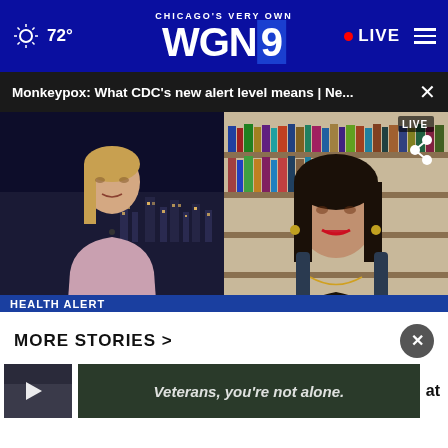CHICAGO'S VERY OWN WGN9  72°  • LIVE
Monkeypox: What CDC's new alert level means | Ne...  ×
[Figure (screenshot): Split-screen TV broadcast showing a blonde female news anchor on the left against a city nightscape background, and a dark-haired female expert on the right in front of a bookshelf. Lower third shows 'HEALTH ALERT' and headline 'CDC RAISES MONKEYPOX ALERT TO LEVEL 2' with NEWS NATION badge. Ticker reads 'ITOUS CONSPIRACY IN THE JAN. 6TH ATTACK ON THE U.S. CAPITOL  N  LATEST HEADLINES  NEWS NATION'.]
MORE STORIES >
[Figure (screenshot): Story thumbnail with play button icon on left, advertisement banner in center reading 'Veterans, you're not alone.' on dark background, partial text 'at' on right.]